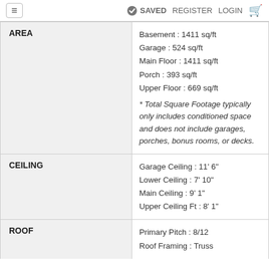≡   ✓ SAVED  REGISTER  LOGIN  🛒
| Label | Value |
| --- | --- |
| AREA | Basement : 1411 sq/ft
Garage : 524 sq/ft
Main Floor : 1411 sq/ft
Porch : 393 sq/ft
Upper Floor : 669 sq/ft
* Total Square Footage typically only includes conditioned space and does not include garages, porches, bonus rooms, or decks. |
| CEILING | Garage Ceiling : 11' 6"
Lower Ceiling : 7' 10"
Main Ceiling : 9' 1"
Upper Ceiling Ft : 8' 1" |
| ROOF | Primary Pitch : 8/12
Roof Framing : Truss |